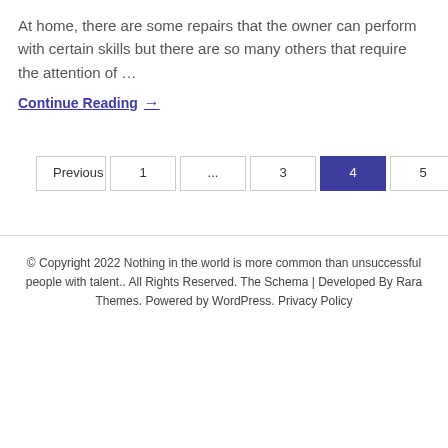At home, there are some repairs that the owner can perform with certain skills but there are so many others that require the attention of …
Continue Reading →
Previous 1 … 3 4 5 Next
© Copyright 2022 Nothing in the world is more common than unsuccessful people with talent.. All Rights Reserved. The Schema | Developed By Rara Themes. Powered by WordPress. Privacy Policy